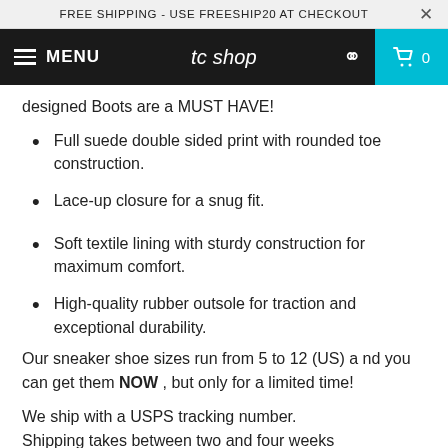FREE SHIPPING - USE FREESHIP20 AT CHECKOUT
MENU | tc shop | 0
designed Boots are a MUST HAVE!
Full suede double sided print with rounded toe construction.
Lace-up closure for a snug fit.
Soft textile lining with sturdy construction for maximum comfort.
High-quality rubber outsole for traction and exceptional durability.
Our sneaker shoe sizes run from 5 to 12 (US) a nd you can get them NOW , but only for a limited time!
We ship with a USPS tracking number. Shipping takes between two and four weeks